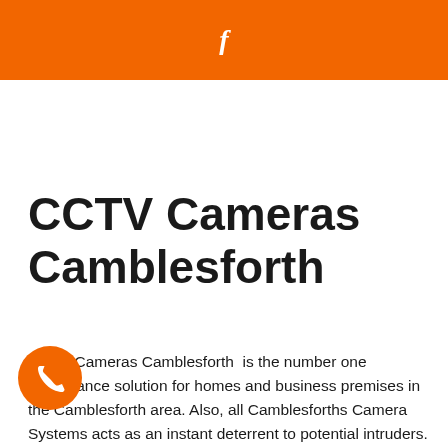f
CCTV Cameras Camblesforth
CCTV Cameras Camblesforth  is the number one surveillance solution for homes and business premises in the Camblesforth area. Also, all Camblesforths Camera Systems acts as an instant deterrent to potential intruders. Pick up the CCTV Cameras Camblesforth